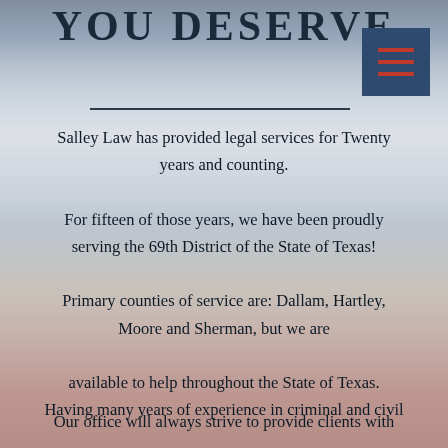[Figure (photo): Texas state flag waving, used as background image with red, white, and blue sections visible]
YOU DESERVE
Salley Law has provided legal services for Twenty years and counting.

For fifteen of those years, we have been proudly serving the 69th District of the State of Texas!

Primary counties of service are: Dallam, Hartley, Moore and Sherman, but we are available to help throughout the State of Texas.

Having many years of experience in criminal and civil law, our knowledge is an invaluable asset!
Our office will always strive to provide clients with